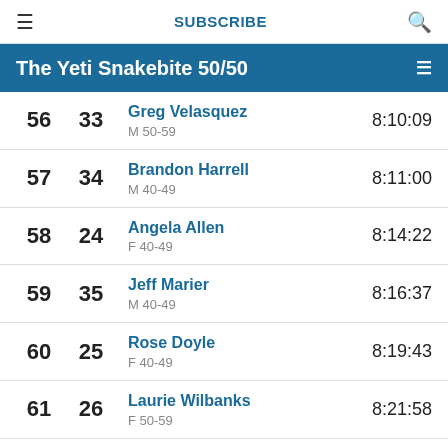SUBSCRIBE
The Yeti Snakebite 50/50
| Overall | Gender | Name / Category | Time |
| --- | --- | --- | --- |
| 56 | 33 | Greg Velasquez
M 50-59 | 8:10:09 |
| 57 | 34 | Brandon Harrell
M 40-49 | 8:11:00 |
| 58 | 24 | Angela Allen
F 40-49 | 8:14:22 |
| 59 | 35 | Jeff Marier
M 40-49 | 8:16:37 |
| 60 | 25 | Rose Doyle
F 40-49 | 8:19:43 |
| 61 | 26 | Laurie Wilbanks
F 50-59 | 8:21:58 |